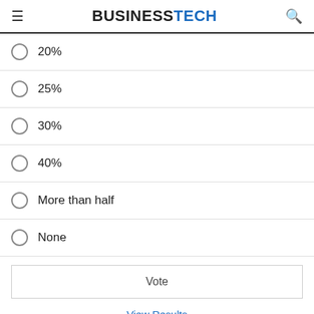BUSINESSTECH
20%
25%
30%
40%
More than half
None
Vote
View Results
Trending Now